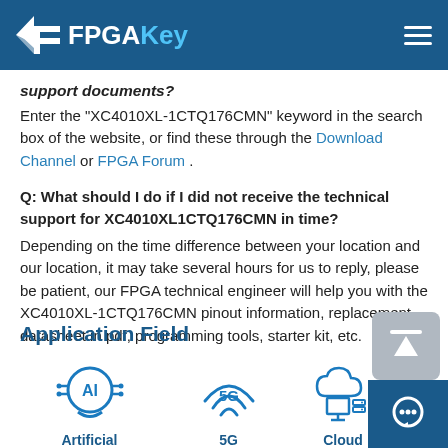FPGAKey
support documents?
Enter the "XC4010XL-1CTQ176CMN" keyword in the search box of the website, or find these through the Download Channel or FPGA Forum .
Q: What should I do if I did not receive the technical support for XC4010XL1CTQ176CMN in time?
Depending on the time difference between your location and our location, it may take several hours for us to reply, please be patient, our FPGA technical engineer will help you with the XC4010XL-1CTQ176CMN pinout information, replacement, datasheet in pdf, programming tools, starter kit, etc.
Application Field
[Figure (illustration): Application field icons row showing AI (Artificial Intelligence), 5G, and Cloud icons with labels]